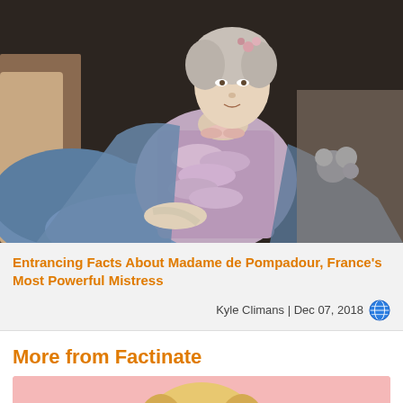[Figure (photo): Classical oil painting portrait of a woman in an elaborate 18th-century blue and lavender dress reclining, with flowers in her gray powdered hair, dark background]
Entrancing Facts About Madame de Pompadour, France's Most Powerful Mistress
Kyle Climans | Dec 07, 2018
More from Factinate
[Figure (photo): Partial thumbnail of a woman with blonde hair against a pink background, partially visible at bottom of page]